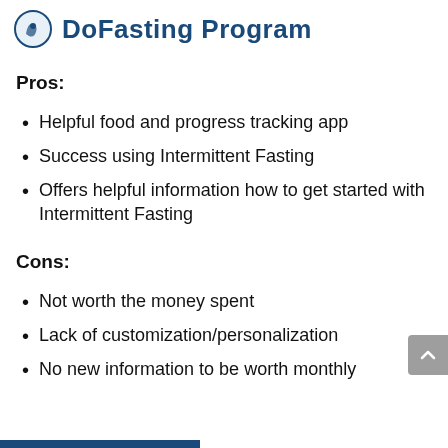DoFasting Program
Pros:
Helpful food and progress tracking app
Success using Intermittent Fasting
Offers helpful information how to get started with Intermittent Fasting
Cons:
Not worth the money spent
Lack of customization/personalization
No new information to be worth monthly